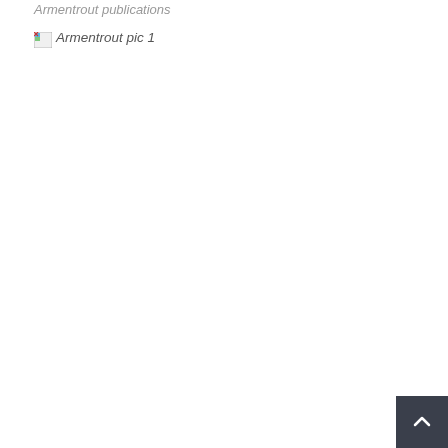Armentrout publications
[Figure (other): Broken image placeholder showing 'Armentrout pic 1' with a broken image icon]
[Figure (other): Back to top button with dark background and upward chevron arrow]